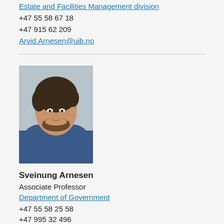Estate and Facilities Management division
+47 55 58 67 18
+47 915 62 209
Arvid.Arnesen@uib.no
[Figure (photo): Portrait photo of Sveinung Arnesen, a man with medium-length brown hair and a beard, wearing a blue hoodie, photographed against a light grey background.]
Sveinung Arnesen
Associate Professor
Department of Government
+47 55 58 25 58
+47 995 32 496